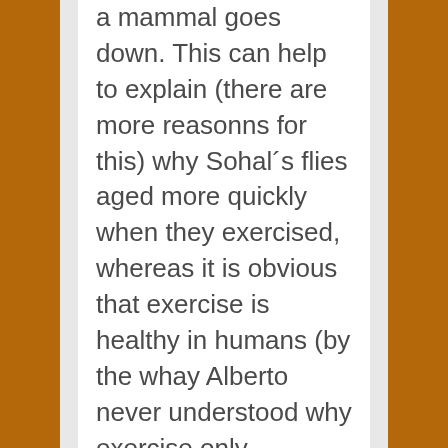a mammal goes down. This can help to explain (there are more reasonns for this) why Sohal´s flies aged more quickly when they exercised, whereas it is obvious that exercise is healthy in humans (by the whay Alberto never understood why exercise only increases mean and not maximum lifespan in mammals. He dismisses MFRTA becase of that. But he is wrong. He should listen to his